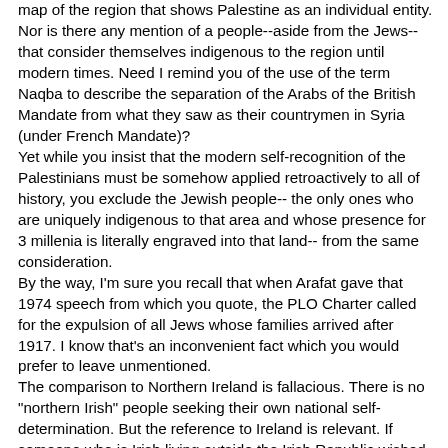map of the region that shows Palestine as an individual entity. Nor is there any mention of a people--aside from the Jews-- that consider themselves indigenous to the region until modern times. Need I remind you of the use of the term Naqba to describe the separation of the Arabs of the British Mandate from what they saw as their countrymen in Syria (under French Mandate)?
Yet while you insist that the modern self-recognition of the Palestinians must be somehow applied retroactively to all of history, you exclude the Jewish people-- the only ones who are uniquely indigenous to that area and whose presence for 3 millenia is literally engraved into that land-- from the same consideration.
By the way, I'm sure you recall that when Arafat gave that 1974 speech from which you quote, the PLO Charter called for the expulsion of all Jews whose families arrived after 1917. I know that's an inconvenient fact which you would prefer to leave unmentioned.
The comparison to Northern Ireland is fallacious. There is no "northern Irish" people seeking their own national self-determination. But the reference to Ireland is relevant. If someone who is Irish living outside the Irish Republic wished to return to that part of his people's homeland which is